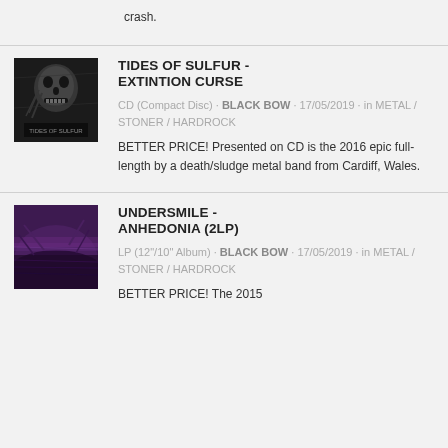crash.
[Figure (photo): Black and white album cover for Tides of Sulfur - Extintion Curse, showing a skull-like figure]
TIDES OF SULFUR - EXTINTION CURSE
CD (Compact Disc) · BLACK BOW · 17/05/2019 · in METAL / STONER / HARDROCK
BETTER PRICE! Presented on CD is the 2016 epic full-length by a death/sludge metal band from Cardiff, Wales.
[Figure (photo): Purple-toned album cover for Undersmile - Anhedonia (2LP)]
UNDERSMILE - ANHEDONIA (2LP)
LP (12"/10" Album) · BLACK BOW · 17/05/2019 · in METAL / STONER / HARDROCK
BETTER PRICE! The 2015